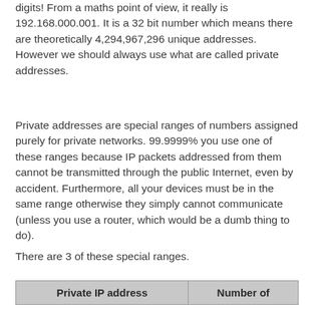digits! From a maths point of view, it really is 192.168.000.001. It is a 32 bit number which means there are theoretically 4,294,967,296 unique addresses. However we should always use what are called private addresses.
Private addresses are special ranges of numbers assigned purely for private networks. 99.9999% you use one of these ranges because IP packets addressed from them cannot be transmitted through the public Internet, even by accident. Furthermore, all your devices must be in the same range otherwise they simply cannot communicate (unless you use a router, which would be a dumb thing to do).
There are 3 of these special ranges.
| Private IP address | Number of |
| --- | --- |